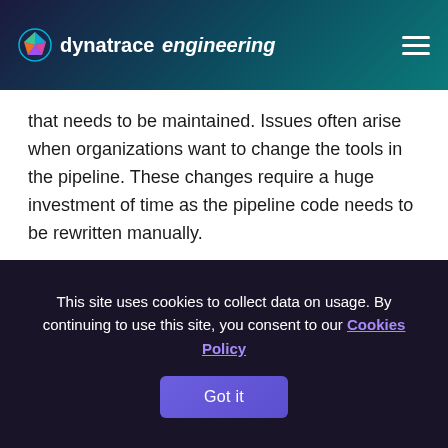dynatrace engineering
that needs to be maintained. Issues often arise when organizations want to change the tools in the pipeline. These changes require a huge investment of time as the pipeline code needs to be rewritten manually.
With Keptn, you can simply specify your automation sequences in a declarative way with a YAML file, letting Keptn do the rest by interacting with your tools through a standardized eventing model. Changing or adding new tools
This site uses cookies to collect data on usage. By continuing to use this site, you consent to our Cookies Policy
Got it